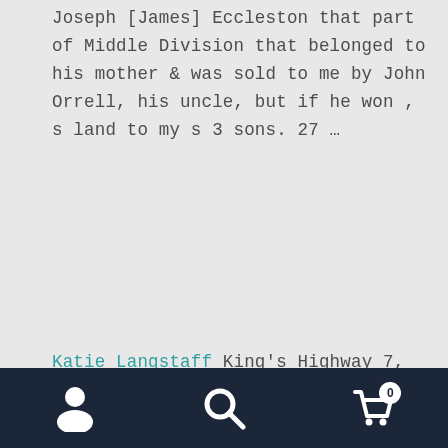Joseph [James] Eccleston that part of Middle Division that belonged to his mother & was sold to me by John Orrell, his uncle, but if he won , s land to my s 3 sons. 27 …
Katie Langstaff King's Highway 7, commonly referred to as Highway 7 and historically as the Northern Highway, is a provincially maintained highway in the Canadian province of Ontario.At its peak, Highway 7 measured 716 km (445 mi) in length, stretching from Highway 40 east of...
[Figure (screenshot): Back to top overlay button with upward-pointing grey arrow triangle, semi-transparent white background panel]
[Figure (screenshot): Bottom navigation bar with dark navy background, three icons: user/person icon, search/magnifying glass icon, shopping cart icon with badge showing 0]